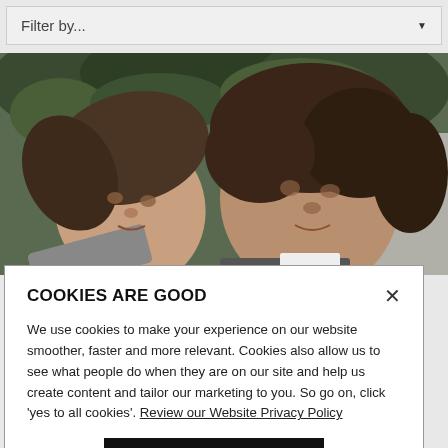Filter by...
[Figure (photo): Two people taking a selfie or close-up photo outdoors near green foliage and a building wall]
COOKIES ARE GOOD
We use cookies to make your experience on our website smoother, faster and more relevant. Cookies also allow us to see what people do when they are on our site and help us create content and tailor our marketing to you. So go on, click 'yes to all cookies'. Review our Website Privacy Policy
Yes to all cookies